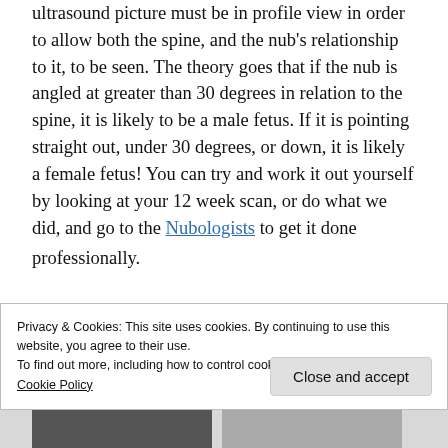ultrasound picture must be in profile view in order to allow both the spine, and the nub's relationship to it, to be seen. The theory goes that if the nub is angled at greater than 30 degrees in relation to the spine, it is likely to be a male fetus. If it is pointing straight out, under 30 degrees, or down, it is likely a female fetus! You can try and work it out yourself by looking at your 12 week scan, or do what we did, and go to the Nubologists to get it done
Privacy & Cookies: This site uses cookies. By continuing to use this website, you agree to their use.
To find out more, including how to control cookies, see here:
Cookie Policy